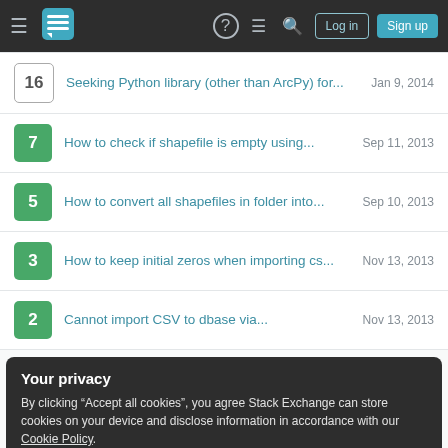Stack Exchange navigation bar with hamburger menu, logo, help, chat, search icons, Log in and Sign up buttons
16 — Seeking Python library (other than ArcPy) for... — Jan 9, 2014
7 — How to check if shapefile is empty using... — Sep 11, 2013
5 — How to convert all shapefiles in folder into... — Sep 10, 2013
3 — How to keep initial zeros when importing cs... — Nov 13, 2013
2 — Cannot import CSV to dbase via... — Nov 13, 2013
Your privacy
By clicking "Accept all cookies", you agree Stack Exchange can store cookies on your device and disclose information in accordance with our Cookie Policy.
Accept all cookies | Customize settings
Tags